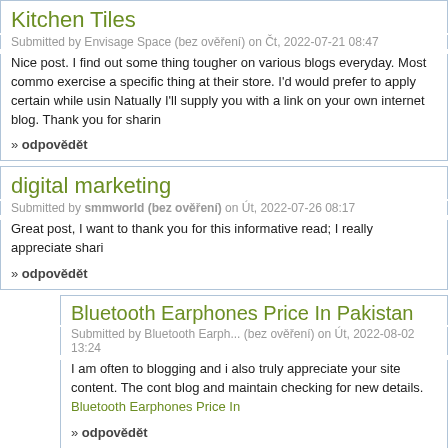Kitchen Tiles
Submitted by Envisage Space (bez ověření) on Čt, 2022-07-21 08:47
Nice post. I find out some thing tougher on various blogs everyday. Most commo exercise a specific thing at their store. I'd would prefer to apply certain while usin Natually I'll supply you with a link on your own internet blog. Thank you for sharin
» odpovědět
digital marketing
Submitted by smmworld (bez ověření) on Út, 2022-07-26 08:17
Great post, I want to thank you for this informative read; I really appreciate shari
» odpovědět
Bluetooth Earphones Price In Pakistan
Submitted by Bluetooth Earph... (bez ověření) on Út, 2022-08-02 13:24
I am often to blogging and i also truly appreciate your site content. The cont blog and maintain checking for new details. Bluetooth Earphones Price In
» odpovědět
smm world panel
Submitted by smm world panel (bez ověření) on So, 2022-08-06 13:53